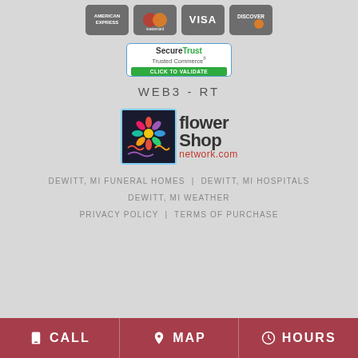[Figure (logo): American Express, Mastercard, Visa, Discover credit card logos on grey badges]
[Figure (logo): SecureTrust Trusted Commerce - Click to Validate badge]
WEB3-RT
[Figure (logo): Flower Shop Network .com logo with colorful flower illustration]
DEWITT, MI FUNERAL HOMES | DEWITT, MI HOSPITALS
DEWITT, MI WEATHER
PRIVACY POLICY | TERMS OF PURCHASE
CALL  MAP  HOURS